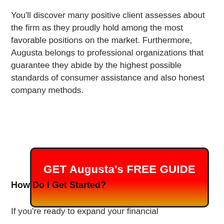You'll discover many positive client assesses about the firm as they proudly hold among the most favorable positions on the market. Furthermore, Augusta belongs to professional organizations that guarantee they abide by the highest possible standards of consumer assistance and also honest company methods.
[Figure (other): Red call-to-action button with gradient from red to orange-yellow reading 'GET Augusta's FREE GUIDE' in bold white text, with a dark border and rounded corners.]
How Do I Get Started?
If you're ready to expand your financial